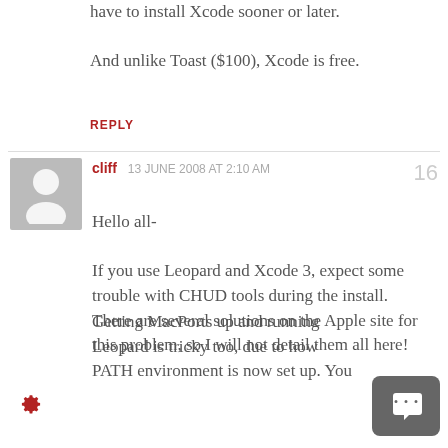have to install Xcode sooner or later.

And unlike Toast ($100), Xcode is free.
REPLY
cliff  13 JUNE 2008 AT 2:10 AM
Hello all-
If you use Leopard and Xcode 3, expect some trouble with CHUD tools during the install. There are several solutions on the Apple site for this problem, so I will not detail them all here!
Getting MacPorts up and running Leopard is tricky too, due to how PATH environment is now set up. You